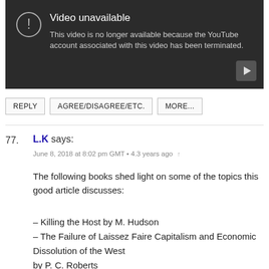[Figure (screenshot): YouTube 'Video unavailable' error screen with dark background, exclamation icon, text stating the video is no longer available because the YouTube account has been terminated, and a play button icon in bottom right.]
REPLY   AGREE/DISAGREE/ETC.   MORE...
77. L.K says:
June 8, 2018 at 8:02 pm GMT • 4.3 years ago ↑
The following books shed light on some of the topics this good article discusses:
– Killing the Host by M. Hudson
– The Failure of Laissez Faire Capitalism and Economic Dissolution of the West
by P. C. Roberts